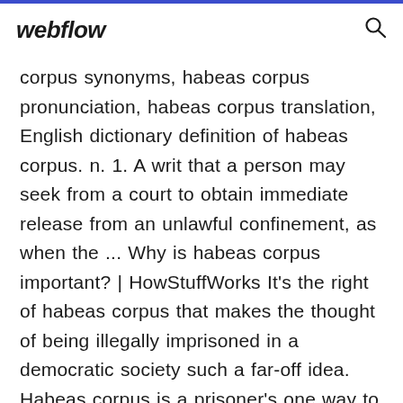webflow
corpus synonyms, habeas corpus pronunciation, habeas corpus translation, English dictionary definition of habeas corpus. n. 1. A writ that a person may seek from a court to obtain immediate release from an unlawful confinement, as when the ... Why is habeas corpus important? | HowStuffWorks It's the right of habeas corpus that makes the thought of being illegally imprisoned in a democratic society such a far-off idea. Habeas corpus is a prisoner's one way to question the legality of his or her imprisonment. Clearly, habeas corpus is an important aspect to U.S. law -- as well as other countries' legislative bodies. habeas